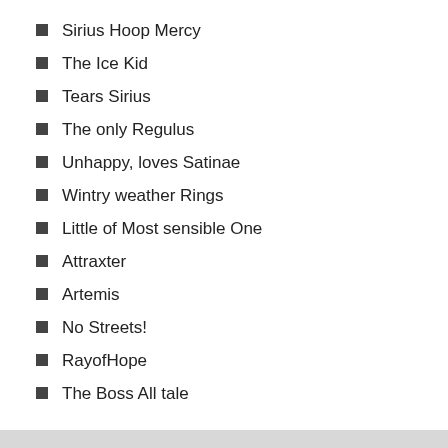Sirius Hoop Mercy
The Ice Kid
Tears Sirius
The only Regulus
Unhappy, loves Satinae
Wintry weather Rings
Little of Most sensible One
Attraxter
Artemis
No Streets!
RayofHope
The Boss All tale